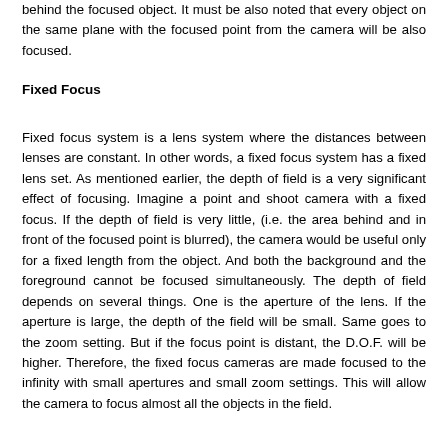behind the focused object. It must be also noted that every object on the same plane with the focused point from the camera will be also focused.
Fixed Focus
Fixed focus system is a lens system where the distances between lenses are constant. In other words, a fixed focus system has a fixed lens set. As mentioned earlier, the depth of field is a very significant effect of focusing. Imagine a point and shoot camera with a fixed focus. If the depth of field is very little, (i.e. the area behind and in front of the focused point is blurred), the camera would be useful only for a fixed length from the object. And both the background and the foreground cannot be focused simultaneously. The depth of field depends on several things. One is the aperture of the lens. If the aperture is large, the depth of the field will be small. Same goes to the zoom setting. But if the focus point is distant, the D.O.F. will be higher. Therefore, the fixed focus cameras are made focused to the infinity with small apertures and small zoom settings. This will allow the camera to focus almost all the objects in the field.